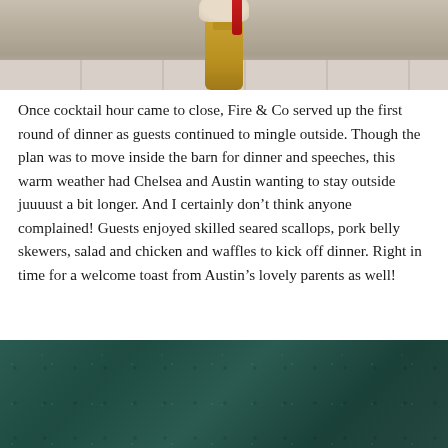[Figure (photo): Top portion of a photo showing a decorative jar or vase filled with shells and red flowers, placed on a wooden plank floor with a light background.]
Once cocktail hour came to close, Fire & Co served up the first round of dinner as guests continued to mingle outside. Though the plan was to move inside the barn for dinner and speeches, this warm weather had Chelsea and Austin wanting to stay outside juuuust a bit longer. And I certainly don’t think anyone complained! Guests enjoyed skilled seared scallops, pork belly skewers, salad and chicken and waffles to kick off dinner. Right in time for a welcome toast from Austin’s lovely parents as well!
[Figure (photo): Bottom portion of a photo showing a dark teal/green textured surface, likely a table or fabric.]